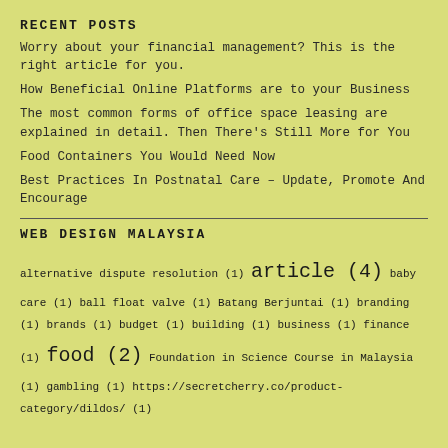RECENT POSTS
Worry about your financial management? This is the right article for you.
How Beneficial Online Platforms are to your Business
The most common forms of office space leasing are explained in detail. Then There’s Still More for You
Food Containers You Would Need Now
Best Practices In Postnatal Care – Update, Promote And Encourage
WEB DESIGN MALAYSIA
alternative dispute resolution (1) article (4) baby care (1) ball float valve (1) Batang Berjuntai (1) branding (1) brands (1) budget (1) building (1) business (1) finance (1) food (2) Foundation in Science Course in Malaysia (1) gambling (1) https://secretcherry.co/product-category/dildos/ (1)